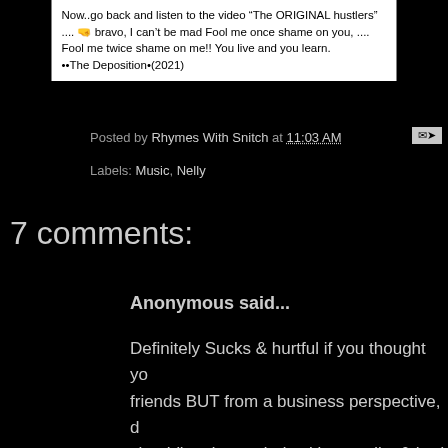[Figure (screenshot): Screenshot of a social media post containing text: 'Now..go back and listen to the video "The ORIGINAL hustlers" .... 🤜 bravo, I can't be mad Fool me once shame on you, .... Fool me twice shame on me!! You live and you learn. ••The Deposition•(2021)']
Posted by Rhymes With Snitch at 11:03 AM
Labels: Music, Nelly
7 comments:
Anonymous said...
Definitely Sucks & hurtful if you thought you were friends BUT from a business perspective, d should've demanded writing credits & had signed before he took his ass back in the st Nelly had a new deal/Mgr. If you can't b your friends & find common ground then was never your friend. I never understood how people get put on budgets & don't wanna make sure their pe